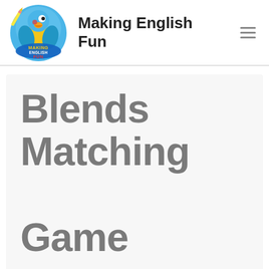[Figure (logo): Making English Fun logo: cartoon blue parrot holding a pencil, with yellow and red text 'MAKING ENGLISH FUN' on a blue circular badge]
Making English Fun
Blends Matching Game